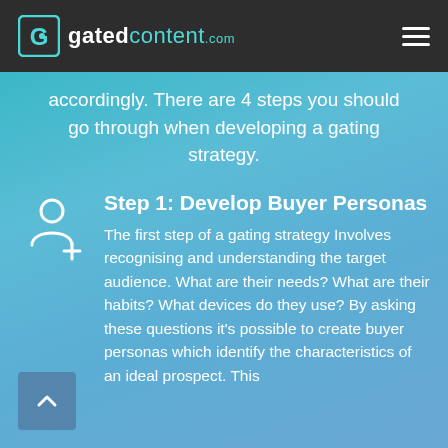gatedcontent.com
accordingly. There are 4 steps you should go through when developing a gating strategy.
Step 1: Develop Buyer Personas
The first step of a gating strategy Involves recognising and understanding the target audience. What are their needs? What are their habits? What devices do they use? By asking these questions it's possible to create buyer personas which identify the characteristics of an ideal prospect. This